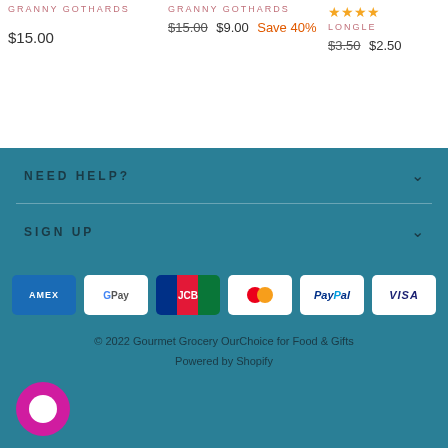GRANNY GOTHARDS
$15.00
GRANNY GOTHARDS
$15.00  $9.00  Save 40%
LONGLE...
$3.50  $2.50
NEED HELP?
SIGN UP
[Figure (other): Payment method badges: Amex, Google Pay, JCB, Mastercard, PayPal, Visa]
© 2022 Gourmet Grocery OurChoice for Food & Gifts
Powered by Shopify